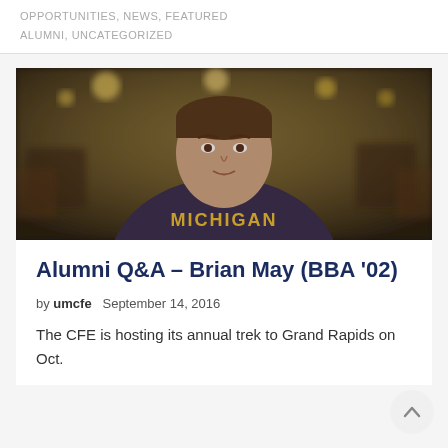OPPORTUNITIES, NEWS, FEATURED ALUMNI, UNCATEGORIZED
[Figure (photo): A man wearing a Michigan sweatshirt standing in front of a blurred restaurant or bar interior with warm lighting.]
Alumni Q&A – Brian May (BBA '02)
by umcfe   September 14, 2016
The CFE is hosting its annual trek to Grand Rapids on Oct.